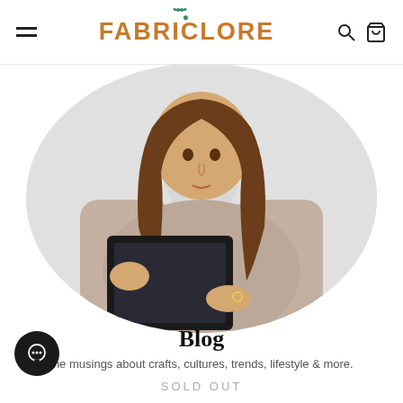FABRICLORE
[Figure (photo): A woman with long wavy brown hair, wearing a grey sweater and white collared shirt, holding a black notebook/tablet. The image is cropped in an oval/ellipse shape with a light grey/white background.]
Blog
the musings about crafts, cultures, trends, lifestyle & more.
SOLD OUT